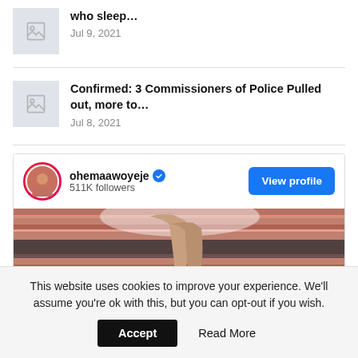who sleep… Jul 9, 2021
Confirmed: 3 Commissioners of Police Pulled out, more to… Jul 8, 2021
[Figure (screenshot): Instagram widget showing ohemaawoyeje profile with 511K followers, a View profile button, and a photo of legs on a striped surface]
This website uses cookies to improve your experience. We'll assume you're ok with this, but you can opt-out if you wish.
Accept  Read More